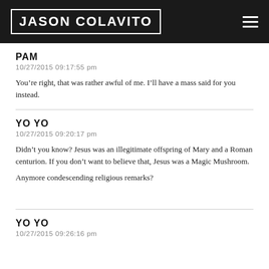JASON COLAVITO
PAM
10/27/2015 09:17:55 pm
You’re right, that was rather awful of me. I’ll have a mass said for you instead.
YO YO
10/27/2015 09:20:17 pm
Didn’t you know? Jesus was an illegitimate offspring of Mary and a Roman centurion. If you don’t want to believe that, Jesus was a Magic Mushroom.

Anymore condescending religious remarks?
YO YO
10/27/2015 09:26:16 pm